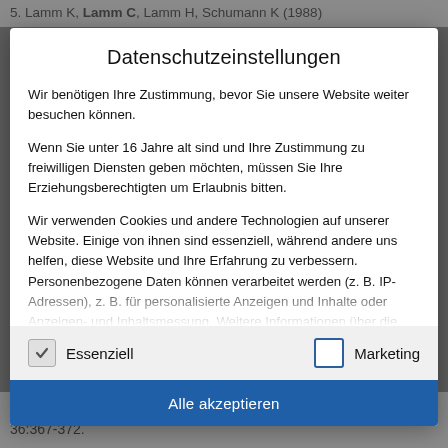5. Lamm K, Lamm C, Lamm H, Schumann K (1988)
Datenschutzeinstellungen
Wir benötigen Ihre Zustimmung, bevor Sie unsere Website weiter besuchen können.
Wenn Sie unter 16 Jahre alt sind und Ihre Zustimmung zu freiwilligen Diensten geben möchten, müssen Sie Ihre Erziehungsberechtigten um Erlaubnis bitten.
Wir verwenden Cookies und andere Technologien auf unserer Website. Einige von ihnen sind essenziell, während andere uns helfen, diese Website und Ihre Erfahrung zu verbessern. Personenbezogene Daten können verarbeitet werden (z. B. IP-Adressen), z. B. für personalisierte Anzeigen und Inhalte oder Anzeigen- und Inhaltsmessung. Weitere Informationen über die
Essenziell
Marketing
Alle akzeptieren
Messungen unter Lärmbelastungen bei Meerschweinchen. HNO 36:367-372.